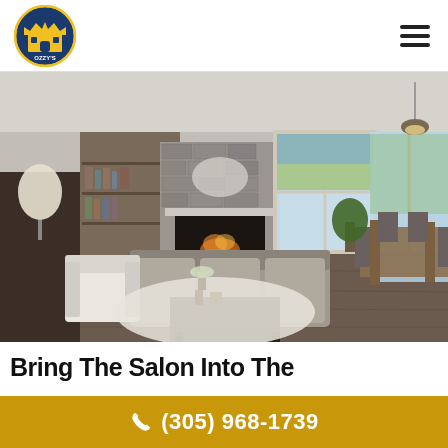[Figure (logo): Ozzy's logo — blue and gold castle/crown emblem with text OZZY'S]
[Figure (photo): Interior photo of a modern open-plan living room with gray sofa, stone fireplace, built-in shelves, hardwood floors, and dining area with large windows]
Bring The Salon Into The...
(305) 968-1739